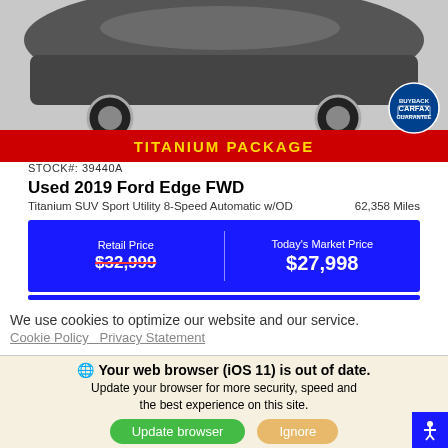[Figure (photo): Partial rear/side view of a dark gray 2019 Ford Edge FWD SUV against a white background]
TITANIUM PACKAGE
STOCK#: 39440A
Used 2019 Ford Edge FWD
Titanium SUV Sport Utility 8-Speed Automatic w/OD    62,358 Miles
| Retail Price | Today's Market Price |
| --- | --- |
| $32,999 | $27,998 |
We use cookies to optimize our website and our service.
Cookie Policy   Privacy Statement
Your web browser (iOS 11) is out of date. Update your browser for more security, speed and the best experience on this site.